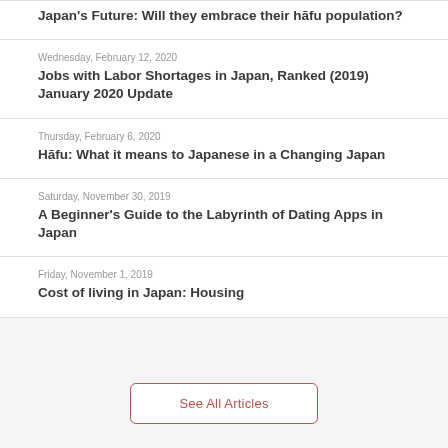Japan's Future: Will they embrace their hāfu population?
Wednesday, February 12, 2020
Jobs with Labor Shortages in Japan, Ranked (2019) January 2020 Update
Thursday, February 6, 2020
Hāfu: What it means to Japanese in a Changing Japan
Saturday, November 30, 2019
A Beginner's Guide to the Labyrinth of Dating Apps in Japan
Friday, November 1, 2019
Cost of living in Japan: Housing
See All Articles